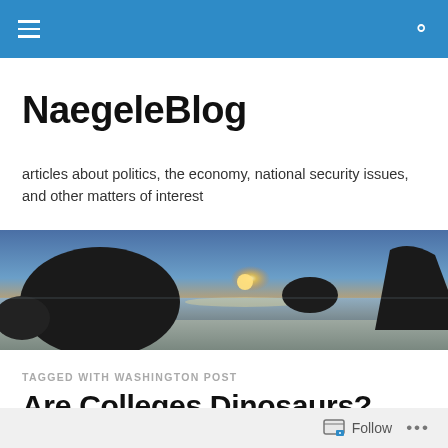NaegeleBlog navigation bar
NaegeleBlog
articles about politics, the economy, national security issues, and other matters of interest
[Figure (photo): Panoramic coastal sunset photo with large rock formations silhouetted against an orange and blue sky, with wet sandy beach in the foreground]
TAGGED WITH WASHINGTON POST
Are Colleges Dinosaurs?
[Figure (photo): Partial thumbnail image of an article — brown/dark tones, appears to show a person or object, cropped at page bottom]
Follow